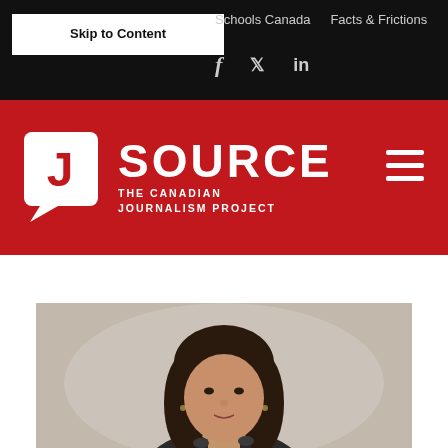Skip to Content | Schools Canada | Facts & Frictions
[Figure (logo): J Source - The Canadian Journalism Project logo on red background with white J speech bubble icon and white text]
[Figure (photo): Portrait photo of a young woman with dark shoulder-length hair, wearing a dark floral top, against a neutral grey-beige background]